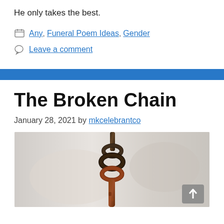He only takes the best.
Any, Funeral Poem Ideas, Gender
Leave a comment
The Broken Chain
January 28, 2021 by mkcelebrantco
[Figure (photo): Close-up photograph of a rusty broken chain link against a blurred light background.]